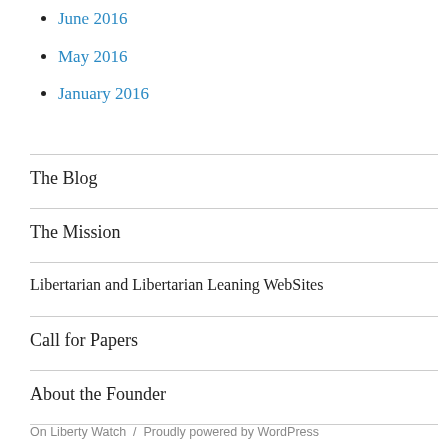June 2016
May 2016
January 2016
The Blog
The Mission
Libertarian and Libertarian Leaning WebSites
Call for Papers
About the Founder
On Liberty Watch / Proudly powered by WordPress